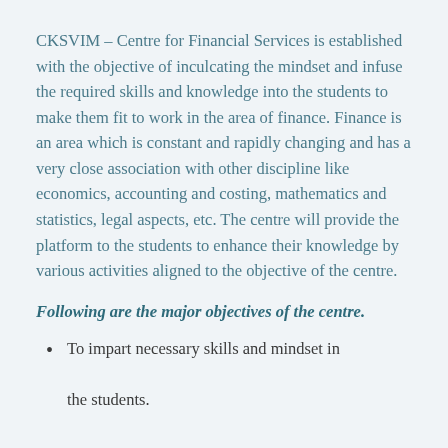CKSVIM – Centre for Financial Services is established with the objective of inculcating the mindset and infuse the required skills and knowledge into the students to make them fit to work in the area of finance. Finance is an area which is constant and rapidly changing and has a very close association with other discipline like economics, accounting and costing, mathematics and statistics, legal aspects, etc. The centre will provide the platform to the students to enhance their knowledge by various activities aligned to the objective of the centre.
Following are the major objectives of the centre.
To impart necessary skills and mindset in the students.